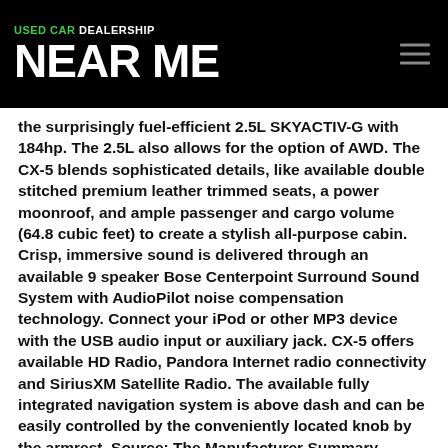USED CAR DEALERSHIP NEAR ME
the surprisingly fuel-efficient 2.5L SKYACTIV-G with 184hp. The 2.5L also allows for the option of AWD. The CX-5 blends sophisticated details, like available double stitched premium leather trimmed seats, a power moonroof, and ample passenger and cargo volume (64.8 cubic feet) to create a stylish all-purpose cabin. Crisp, immersive sound is delivered through an available 9 speaker Bose Centerpoint Surround Sound System with AudioPilot noise compensation technology. Connect your iPod or other MP3 device with the USB audio input or auxiliary jack. CX-5 offers available HD Radio, Pandora Internet radio connectivity and SiriusXM Satellite Radio. The available fully integrated navigation system is above dash and can be easily controlled by the conveniently located knob by the armrest. Source: The Manufacturer Summary
CONTACT DEALER